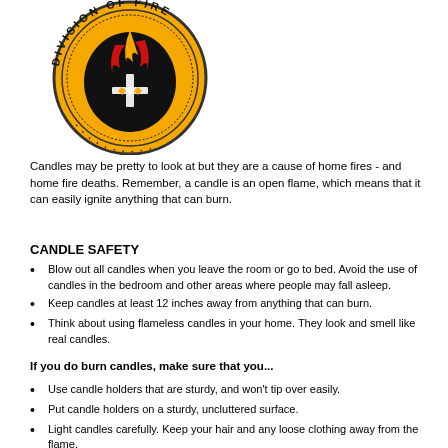[Figure (logo): Division of Fire logo — circular gold badge with black and red torch/flame emblem and text 'DIVISION OF FIRE' around the border]
Candles may be pretty to look at but they are a cause of home fires - and home fire deaths. Remember, a candle is an open flame, which means that it can easily ignite anything that can burn.
CANDLE SAFETY
Blow out all candles when you leave the room or go to bed. Avoid the use of candles in the bedroom and other areas where people may fall asleep.
Keep candles at least 12 inches away from anything that can burn.
Think about using flameless candles in your home. They look and smell like real candles.
If you do burn candles, make sure that you...
Use candle holders that are sturdy, and won't tip over easily.
Put candle holders on a sturdy, uncluttered surface.
Light candles carefully. Keep your hair and any loose clothing away from the flame.